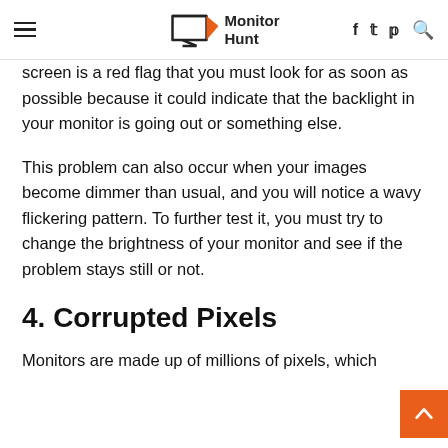Monitor Hunt
screen is a red flag that you must look for as soon as possible because it could indicate that the backlight in your monitor is going out or something else.
This problem can also occur when your images become dimmer than usual, and you will notice a wavy flickering pattern. To further test it, you must try to change the brightness of your monitor and see if the problem stays still or not.
4. Corrupted Pixels
Monitors are made up of millions of pixels, which